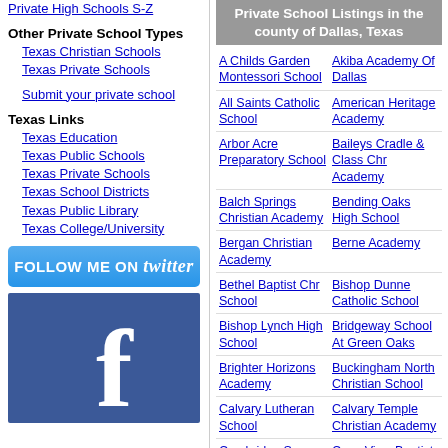Private High Schools S-Z
Other Private School Types
Texas Christian Schools
Texas Private Schools
Submit your private school
Texas Links
Texas Education
Texas Public Schools
Texas Private Schools
Texas School Districts
Texas Public Library
Texas College/University
[Figure (logo): Follow me on Twitter button]
[Figure (logo): Facebook logo/icon in blue]
Private School Listings in the county of Dallas, Texas
A Childs Garden Montessori School
Akiba Academy Of Dallas
All Saints Catholic School
American Heritage Academy
Arbor Acre Preparatory School
Baileys Cradle & Class Chr Academy
Balch Springs Christian Academy
Bending Oaks High School
Bergan Christian Academy
Berne Academy
Bethel Baptist Chr School
Bishop Dunne Catholic School
Bishop Lynch High School
Bridgeway School At Green Oaks
Brighter Horizons Academy
Buckingham North Christian School
Calvary Lutheran School
Calvary Temple Christian Academy
Cambridge Square
Casa View Baptist School